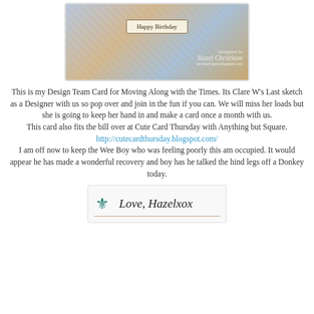[Figure (photo): A handmade greeting card with blue and gold patterned background, featuring a label in the center reading 'Happy Birthday', with a watermark 'Designed by Hazel Christison, airlosdesigns.blogspot.com']
This is my Design Team Card for Moving Along with the Times. Its Clare W's Last sketch as a Designer with us so pop over and join in the fun if you can. We will miss her loads but she is going to keep her hand in and make a card once a month with us.
This card also fits the bill over at Cute Card Thursday with Anything but Square.
http://cutecardthursday.blogspot.com/
I am off now to keep the Wee Boy who was feeling poorly this am occupied. It would appear he has made a wonderful recovery and boy has he talked the hind legs off a Donkey today.
[Figure (photo): A signature image showing a fleur-de-lis icon in teal and the handwritten text 'Love, Hazelxox' with a decorative underline]